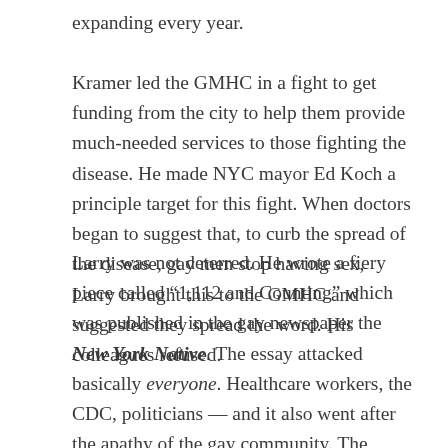expanding every year.
Kramer led the GMHC in a fight to get funding from the city to help them provide much-needed services to those fighting the disease. He made NYC mayor Ed Koch a principle target for this fight. When doctors began to suggest that, to curb the spread of the disease, gay men stop having sex, Larry brought this to the GMHC and suggested they spread the word. His colleagues refused.
Larry was not deterred. He wrote a fiery piece called “1,112 and Counting” which was published in the gay newspaper the New York Native. The essay attacked basically everyone. Healthcare workers, the CDC, politicians — and it also went after the apathy of the gay community. The piece did something important than